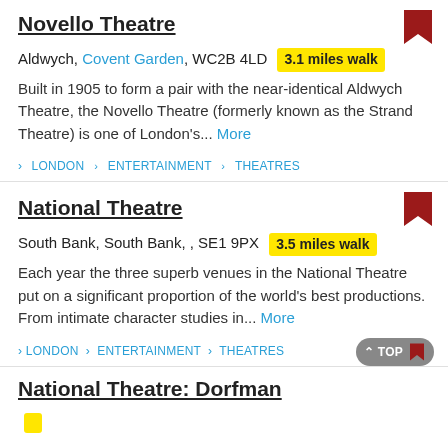Novello Theatre
Aldwych, Covent Garden, WC2B 4LD  3.1 miles walk
Built in 1905 to form a pair with the near-identical Aldwych Theatre, the Novello Theatre (formerly known as the Strand Theatre) is one of London's... More
> LONDON > ENTERTAINMENT > THEATRES
National Theatre
South Bank, South Bank, , SE1 9PX  3.5 miles walk
Each year the three superb venues in the National Theatre put on a significant proportion of the world's best productions. From intimate character studies in... More
> LONDON > ENTERTAINMENT > THEATRES
National Theatre: Dorfman